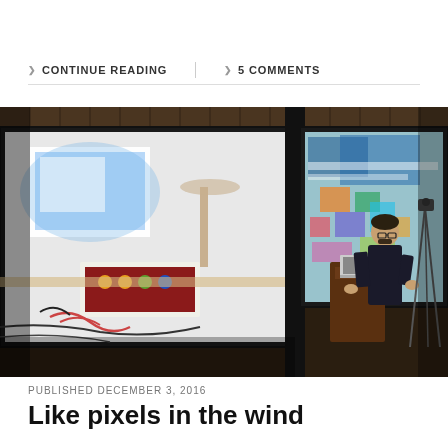❯ CONTINUE READING   ❯ 5 COMMENTS
[Figure (photo): A presenter standing at a wooden podium with a laptop, with two large projection screens behind him — the left screen shows an electronic music setup with a circuit box and a monitor, the right screen shows a colorful projected image. The room is dark with wooden wall paneling in the background.]
PUBLISHED DECEMBER 3, 2016
Like pixels in the wind